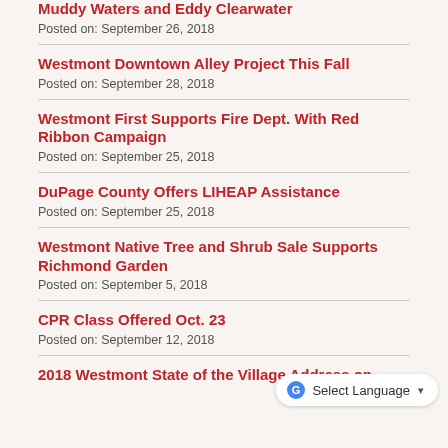Muddy Waters and Eddy Clearwater
Posted on: September 26, 2018
Westmont Downtown Alley Project This Fall
Posted on: September 28, 2018
Westmont First Supports Fire Dept. With Red Ribbon Campaign
Posted on: September 25, 2018
DuPage County Offers LIHEAP Assistance
Posted on: September 25, 2018
Westmont Native Tree and Shrub Sale Supports Richmond Garden
Posted on: September 5, 2018
CPR Class Offered Oct. 23
Posted on: September 12, 2018
2018 Westmont State of the Village Address on